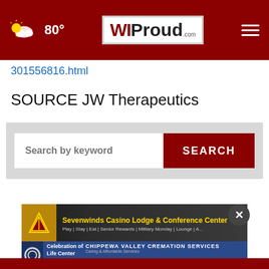WIProud.com — 80° — navigation header
301556816.html
SOURCE JW Therapeutics
[Figure (screenshot): Search bar with 'Search by keyword' placeholder and red SEARCH button on grey background]
[Figure (other): Sevenwinds Casino Lodge & Conference Center advertisement banner with gold logo]
[Figure (other): Celebration of Life Center / Chippewa Valley Cremation Services ad — Cremation Services from $1495]